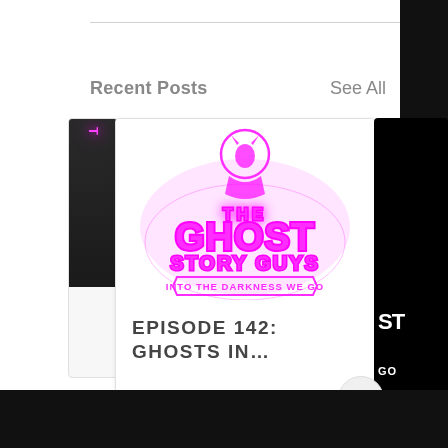Recent Posts
See All
[Figure (screenshot): A podcast card showing 'The Ghost Story Guys - Into The Darkness We Go' logo in neon pink/magenta with text below reading 'EPISODE 142: GHOSTS IN...']
EPISODE 142: GHOSTS IN...